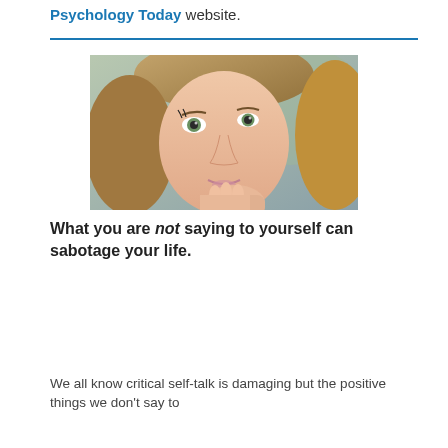Psychology Today website.
[Figure (photo): Close-up portrait of a young woman with green eyes, resting her chin on her hand, with blonde/brown hair.]
What you are not saying to yourself can sabotage your life.
We all know critical self-talk is damaging but the positive things we don't say to